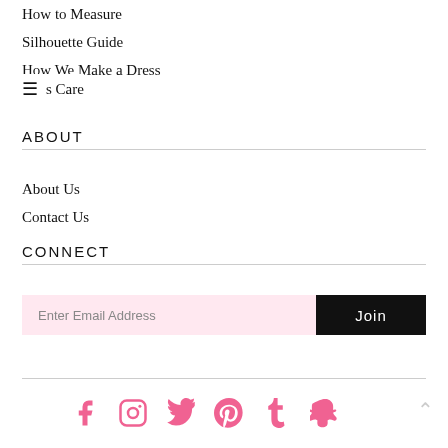How to Measure
Silhouette Guide
How We Make a Dress
≡  s Care
ABOUT
About Us
Contact Us
CONNECT
Enter Email Address  Join
[Figure (other): Social media icons row: Facebook, Instagram, Twitter, Pinterest, Tumblr, Snapchat in pink]